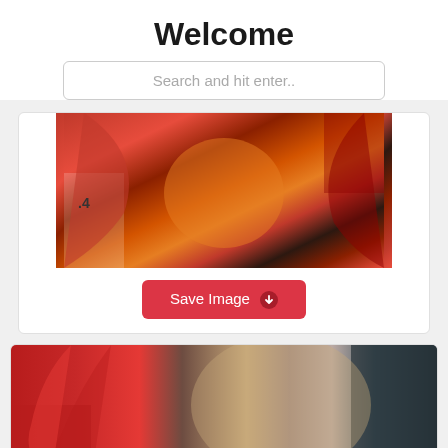Welcome
Search and hit enter..
[Figure (illustration): Anime-style illustration of a character with red wings and orange/red coloring, cropped at torso level. Number '.4' visible in lower left.]
Save Image
[Figure (illustration): Anime-style illustration of a blonde male character with a headset, wearing a jacket with fur collar, against a dark blue-grey background with red feathers/wings visible.]